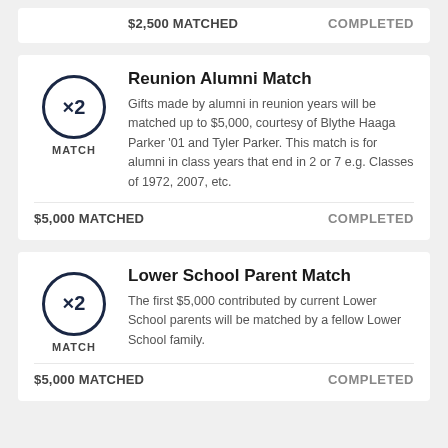$2,500 MATCHED    COMPLETED
Reunion Alumni Match
Gifts made by alumni in reunion years will be matched up to $5,000, courtesy of Blythe Haaga Parker '01 and Tyler Parker. This match is for alumni in class years that end in 2 or 7 e.g. Classes of 1972, 2007, etc.
$5,000 MATCHED    COMPLETED
Lower School Parent Match
The first $5,000 contributed by current Lower School parents will be matched by a fellow Lower School family.
$5,000 MATCHED    COMPLETED